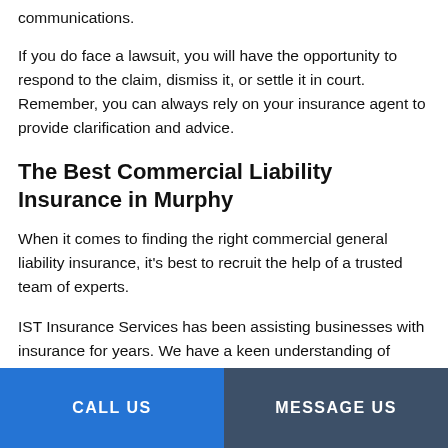communications.
If you do face a lawsuit, you will have the opportunity to respond to the claim, dismiss it, or settle it in court. Remember, you can always rely on your insurance agent to provide clarification and advice.
The Best Commercial Liability Insurance in Murphy
When it comes to finding the right commercial general liability insurance, it’s best to recruit the help of a trusted team of experts.
IST Insurance Services has been assisting businesses with insurance for years. We have a keen understanding of
CALL US | MESSAGE US